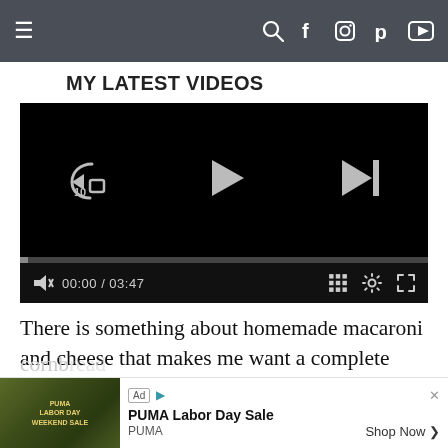[Figure (screenshot): Navigation bar with hamburger menu icon on left and social media icons (search, Facebook, Instagram, Pinterest, YouTube) on right, dark gray background]
MY LATEST VIDEOS
[Figure (screenshot): Video player showing black screen with replay-10, play, and skip-next controls, progress bar at 00:00 / 03:47, volume, grid, settings, and fullscreen icons]
There is something about homemade macaroni and cheese that makes me want a complete soul food meal. I'm talking about crispy fried chicken, tender
[Figure (screenshot): Ad banner: PUMA Labor Day Sale advertisement with jungle background image, 'Ad' label, PUMA branding, and 'Shop Now' button]